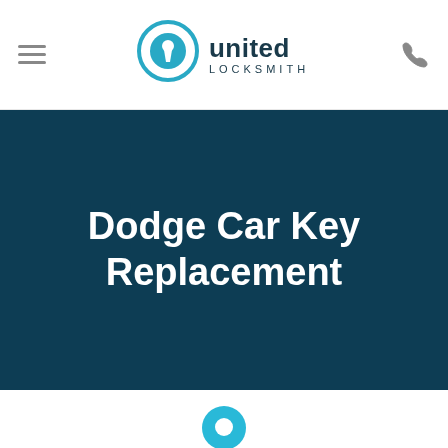[Figure (logo): United Locksmith logo with circular keyhole icon in teal/blue and company name]
Dodge Car Key Replacement
Find your local